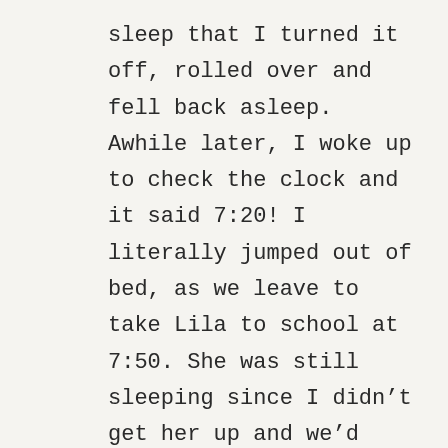sleep that I turned it off, rolled over and fell back asleep. Awhile later, I woke up to check the clock and it said 7:20! I literally jumped out of bed, as we leave to take Lila to school at 7:50. She was still sleeping since I didn’t get her up and we’d have to rush out the door.
I made my way to the kitchen and noticed that it was still pretty